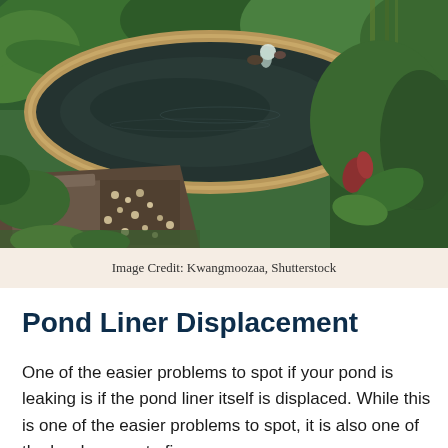[Figure (photo): A decorative garden koi pond with a curved stone rim, dark reflective water, a small waterfall feature, surrounded by lush tropical green plants and stone/pebble pathway in the foreground.]
Image Credit: Kwangmoozaa, Shutterstock
Pond Liner Displacement
One of the easier problems to spot if your pond is leaking is if the pond liner itself is displaced. While this is one of the easier problems to spot, it is also one of the harder ones to fix.